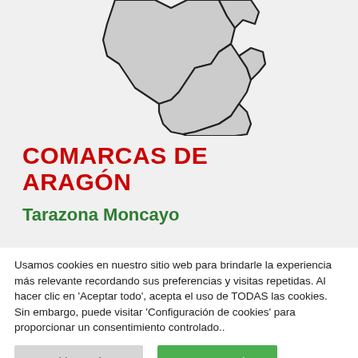[Figure (map): Map of Aragon region showing comarca boundaries in grey with dark outlines, partially cropped at top.]
COMARCAS DE ARAGÓN
Tarazona Moncayo
Usamos cookies en nuestro sitio web para brindarle la experiencia más relevante recordando sus preferencias y visitas repetidas. Al hacer clic en 'Aceptar todo', acepta el uso de TODAS las cookies. Sin embargo, puede visitar 'Configuración de cookies' para proporcionar un consentimiento controlado..
Cookie Settings | Aceptar todo